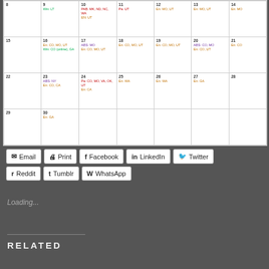| Sun | Mon | Tue | Wed | Thu | Fri | Sat |
| --- | --- | --- | --- | --- | --- | --- |
| 8 | 9
Win: LT | 10
PAB: MK, ND, NC, WA
EN: UT | 11
Pa: UT | 12
En: MO, UT | 13
En: MO, UT | 14
En: MO |
| 15 | 16
En: CO, MO, UT
Win: CO (online), GA | 17
ABS: MO
En: CO, MO, UT | 18
En: CO, MO, UT | 19
En: CO, MO, UT | 20
ABS: CO, MO
En: CO, UT | 21
En: CO |
| 22 | 23
ABS: NY
En: CO, CA | 24
Pa: CO, MO, VA, OK, UT
En: CA | 25
En: WA | 26
En: WA | 27
En: GA | 28 |
| 29 | 30
En: GA |  |  |  |  |  |
Email
Print
Facebook
LinkedIn
Twitter
Reddit
Tumblr
WhatsApp
Loading...
RELATED